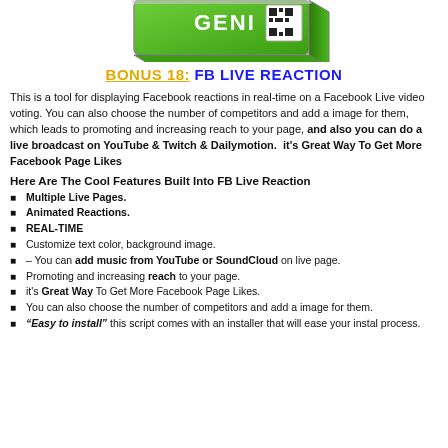[Figure (illustration): Partial view of a green software box product image with QR code, partially cropped at top]
BONUS 18: FB LIVE REACTION
This is a tool for displaying Facebook reactions in real-time on a Facebook Live video voting. You can also choose the number of competitors and add a image for them, which leads to promoting and increasing reach to your page, and also you can do a live broadcast on YouTube & Twitch & Dailymotion. it's Great Way To Get More Facebook Page Likes
Here Are The Cool Features Built Into FB Live Reaction
Multiple Live Pages.
Animated Reactions.
REAL-TIME
Customize text color, background image.
– You can add music from YouTube or SoundCloud on live page.
Promoting and increasing reach to your page.
it's Great Way To Get More Facebook Page Likes.
You can also choose the number of competitors and add a image for them.
“Easy to install” this script comes with an installer that will ease your instal process.